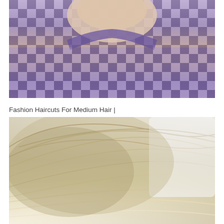[Figure (photo): Close-up photo of a person's neck and upper chest area wearing a purple/lavender checkered or grid-patterned knit top]
Fashion Haircuts For Medium Hair |
[Figure (photo): Close-up photo of a woman's blonde highlighted medium-length layered bob haircut, viewed from a side/back angle against a light background]